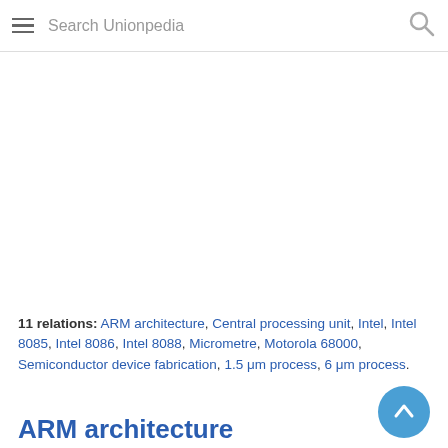Search Unionpedia
11 relations: ARM architecture, Central processing unit, Intel, Intel 8085, Intel 8086, Intel 8088, Micrometre, Motorola 68000, Semiconductor device fabrication, 1.5 μm process, 6 μm process.
ARM architecture
ARM, previously Advanced RISC Machine, originally Acorn RISC